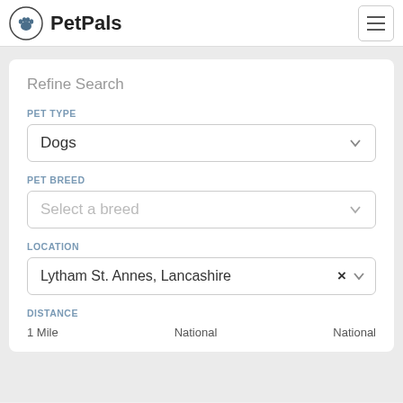PetPals
Refine Search
PET TYPE
Dogs
PET BREED
Select a breed
LOCATION
Lytham St. Annes, Lancashire
DISTANCE
1 Mile    National    National